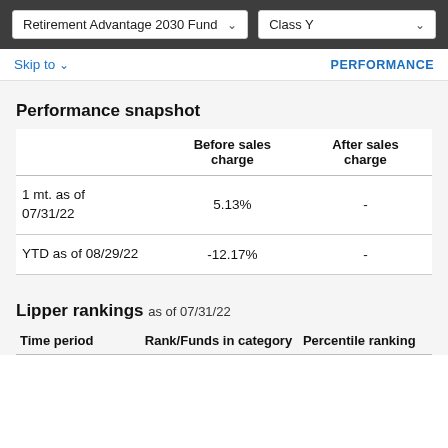Retirement Advantage 2030 Fund | Class Y
Skip to | PERFORMANCE
Performance snapshot
|  | Before sales charge | After sales charge |
| --- | --- | --- |
| 1 mt. as of 07/31/22 | 5.13% | - |
| YTD as of 08/29/22 | -12.17% | - |
Lipper rankings as of 07/31/22
| Time period | Rank/Funds in category | Percentile ranking |
| --- | --- | --- |